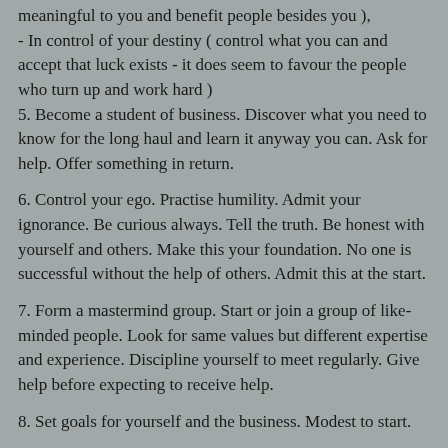meaningful to you and benefit people besides you ),
- In control of your destiny ( control what you can and accept that luck exists - it does seem to favour the people who turn up and work hard )
5. Become a student of business. Discover what you need to know for the long haul and learn it anyway you can. Ask for help. Offer something in return.
6. Control your ego. Practise humility. Admit your ignorance. Be curious always. Tell the truth. Be honest with yourself and others. Make this your foundation. No one is successful without the help of others. Admit this at the start.
7. Form a mastermind group. Start or join a group of like-minded people. Look for same values but different expertise and experience. Discipline yourself to meet regularly. Give help before expecting to receive help.
8. Set goals for yourself and the business. Modest to start.
9. Clarify your purpose. Why are you starting this business? Be very clear or don't start. It may never be clearer than at the start.